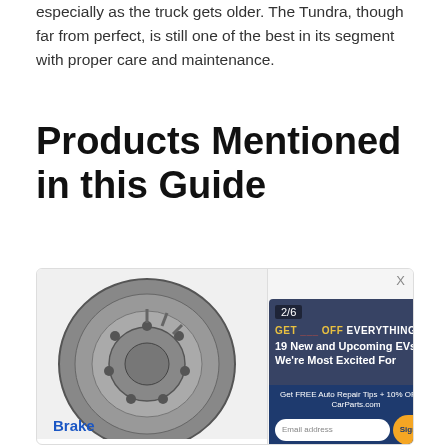especially as the truck gets older. The Tundra, though far from perfect, is still one of the best in its segment with proper care and maintenance.
Products Mentioned in this Guide
[Figure (photo): Brake rotor / disc product image inside a product card, with a popup ad overlay showing '2/6', 'GET ___ OFF EVERYTHING', '19 New and Upcoming EVs We're Most Excited For', a sign-up bar reading 'Get FREE Auto Repair Tips + 10% OFF on CarParts.com' with an email address input and yellow 'Sign Up' button, and an X close button.]
Brake